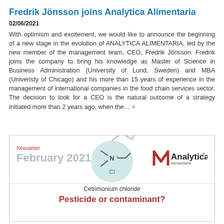Fredrik Jönsson joins Analytica Alimentaria
02/06/2021
With optimism and excitement, we would like to announce the beginning of a new stage in the evolution of ANALYTICA ALIMENTARIA, led by the new member of the management team, CEO, Fredrik Jönsson. Fredrik joins the company to bring his knowledge as Master of Science in Business Administration (University of Lund, Sweden) and MBA (Univeristy of Chicago) and his more than 15 years of experience in the management of international companies in the food chain services sector. The decision to look for a CEO is the natural outcome of a strategy initiated more than 2 years ago, when the… +
[Figure (infographic): Newsletter card for Analytica Alimentaria, February 2021. Shows a cetrimonium chloride molecule diagram (N+ and Cl- labels in a teal circle with chain lines), a red Newsletter label, large grey 'February 2021' text, Analytica Alimentaria logo top right, white lower section with text 'Cetrimonium chloride' and bold red 'Pesticide or contaminant?']